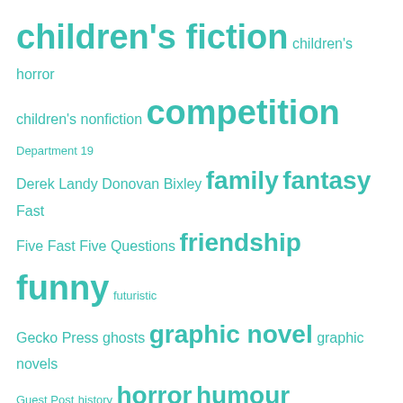[Figure (infographic): Tag cloud with book-related terms in varying font sizes, all in teal/turquoise color on white background. Larger terms indicate higher frequency: children's fiction, competition, family, fantasy, funny, friendship, horror, humour, humourous, mystery, new releases, New Zealand, New Zealand author, New Zealand illustrator, NZ Book Month, NZ Book. Smaller terms include children's horror, children's nonfiction, Department 19, Derek Landy, Donovan Bixley, Fast Five, Fast Five Questions, futuristic, Gecko Press, ghosts, graphic novel, graphic novels, Guest Post, history, interview, Katherine Applegate, Kyle Mewburn, magic, Michael Grant, Michael Morpurgo, movies, new books, New Zealand authors, New Zealand illustrators, New Zealand Post Children's Book Awards, nonfiction.]